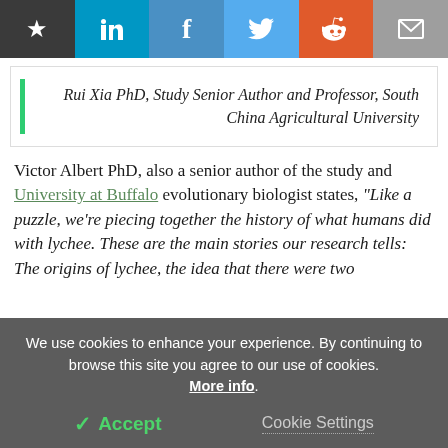[Figure (other): Social sharing bar with bookmark, LinkedIn, Facebook, Twitter, Reddit, and email icons]
Rui Xia PhD, Study Senior Author and Professor, South China Agricultural University
Victor Albert PhD, also a senior author of the study and University at Buffalo evolutionary biologist states, “Like a puzzle, we’re piecing together the history of what humans did with lychee. These are the main stories our research tells: The origins of lychee, the idea that there were two
We use cookies to enhance your experience. By continuing to browse this site you agree to our use of cookies. More info. Accept Cookie Settings